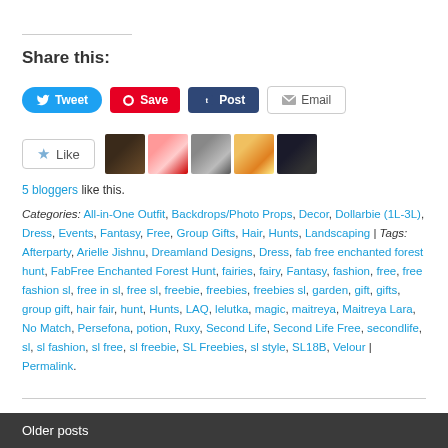Share this:
Tweet | Save | Post | Email (social sharing buttons)
Like button with 5 blogger avatars
5 bloggers like this.
Categories: All-in-One Outfit, Backdrops/Photo Props, Decor, Dollarbie (1L-3L), Dress, Events, Fantasy, Free, Group Gifts, Hair, Hunts, Landscaping | Tags: Afterparty, Arielle Jishnu, Dreamland Designs, Dress, fab free enchanted forest hunt, FabFree Enchanted Forest Hunt, fairies, fairy, Fantasy, fashion, free, free fashion sl, free in sl, free sl, freebie, freebies, freebies sl, garden, gift, gifts, group gift, hair fair, hunt, Hunts, LAQ, lelutka, magic, maitreya, Maitreya Lara, No Match, Persefona, potion, Ruxy, Second Life, Second Life Free, secondlife, sl, sl fashion, sl free, sl freebie, SL Freebies, sl style, SL18B, Velour | Permalink.
Older posts